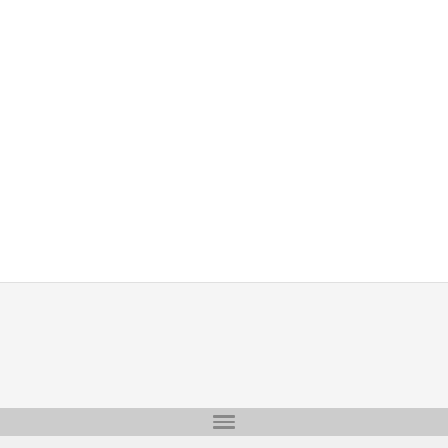Idioms browser
stay after (someone or something)
stay ahead
stay ahead of (someone or something)